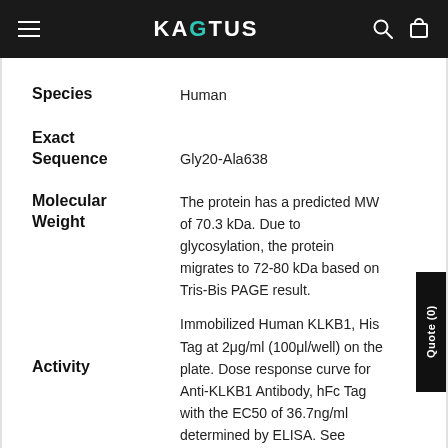KAGTUS
| Property | Value |
| --- | --- |
| Species | Human |
| Exact Sequence | Gly20-Ala638 |
| Molecular Weight | The protein has a predicted MW of 70.3 kDa. Due to glycosylation, the protein migrates to 72-80 kDa based on Tris-Bis PAGE result. |
| Activity | Immobilized Human KLKB1, His Tag at 2μg/ml (100μl/well) on the plate. Dose response curve for Anti-KLKB1 Antibody, hFc Tag with the EC50 of 36.7ng/ml determined by ELISA. See testing image for detail. |